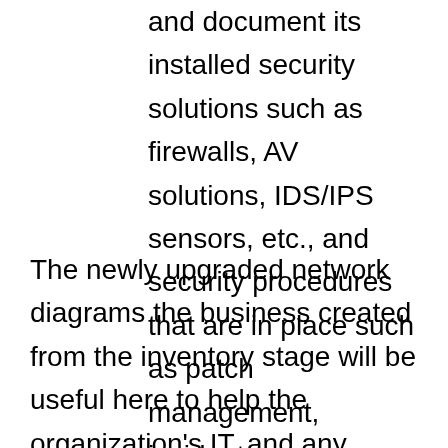and document its installed security solutions such as firewalls, AV solutions, IDS/IPS sensors, etc., and security procedures that are in place such as patch management, incident response and vulnerability remediation to name a few.
The newly upgraded network diagrams the business created from the inventory stage will be useful here to help the organization's IT, and any security personnel better understand the current effectiveness of installed security controls and annotate areas for improvement. Businesses will find this stage is the most technical of the five; they should not be afraid to ask for third-party vendor assistance to conduct these assessments